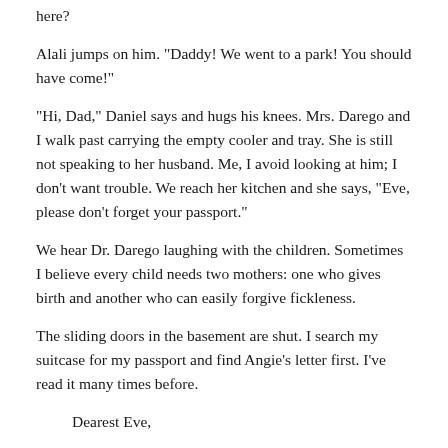here?
Alali jumps on him. "Daddy! We went to a park! You should have come!"
"Hi, Dad," Daniel says and hugs his knees. Mrs. Darego and I walk past carrying the empty cooler and tray. She is still not speaking to her husband. Me, I avoid looking at him; I don't want trouble. We reach her kitchen and she says, "Eve, please don't forget your passport."
We hear Dr. Darego laughing with the children. Sometimes I believe every child needs two mothers: one who gives birth and another who can easily forgive fickleness.
The sliding doors in the basement are shut. I search my suitcase for my passport and find Angie's letter first. I've read it many times before.
Dearest Eve,
I hope this meets you in good spirits. If so,